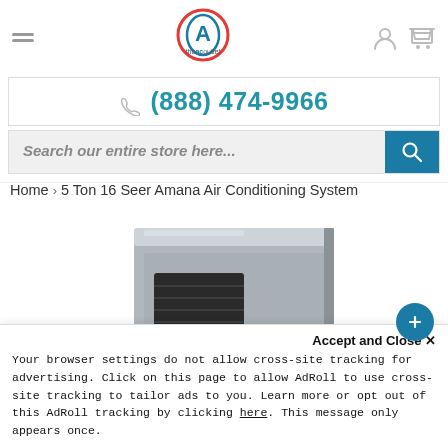theacoutlet — (888) 474-9966 — Search our entire store here...
Home > 5 Ton 16 Seer Amana Air Conditioning System
[Figure (photo): Amana air conditioning system unit, grey metal box with black panel and red Amana logo, partially visible from below]
Accept and Close ✕
Your browser settings do not allow cross-site tracking for advertising. Click on this page to allow AdRoll to use cross-site tracking to tailor ads to you. Learn more or opt out of this AdRoll tracking by clicking here. This message only appears once.